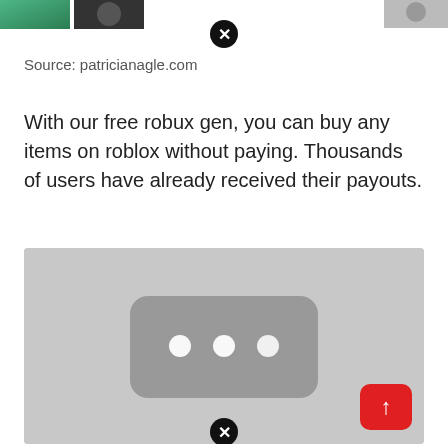[Figure (screenshot): Top strip with partial images: green/nature image on left, dark circular avatar, and partial image on right, with a close (X) button overlay]
Source: patricianagle.com
With our free robux gen, you can buy any items on roblox without paying. Thousands of users have already received their payouts.
[Figure (screenshot): Gray video placeholder with a dark rounded rectangle containing three white dots (loading indicator), a red scroll-to-top button in the bottom right, and a close (X) button at the bottom center]